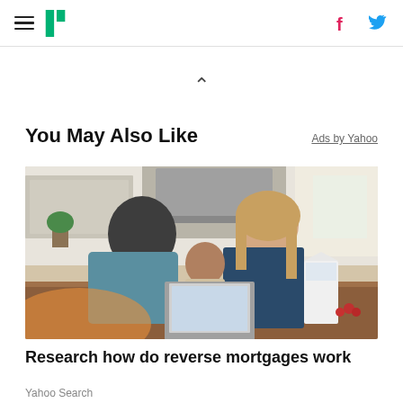HuffPost navigation with hamburger menu, logo, Facebook and Twitter icons
[Figure (other): Chevron/caret up arrow symbol indicating collapsible section]
You May Also Like
Ads by Yahoo
[Figure (photo): A family — man, woman, and toddler — gathered around a laptop at a kitchen table]
Research how do reverse mortgages work
Yahoo Search